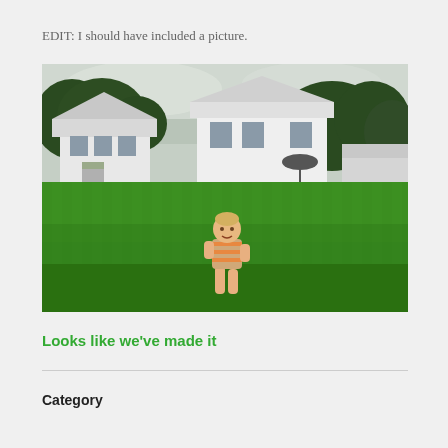EDIT: I should have included a picture.
[Figure (photo): A toddler in a striped outfit walking across a large green lawn in front of a white house with trees in the background.]
Looks like we've made it
Category